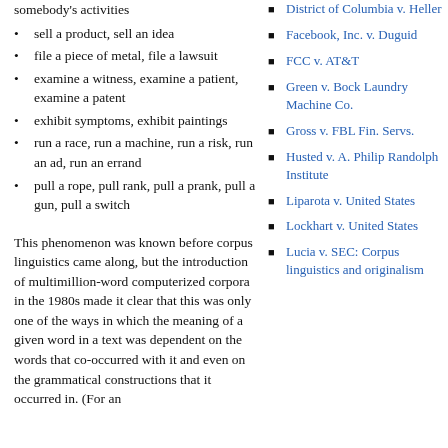somebody's activities
sell a product, sell an idea
file a piece of metal, file a lawsuit
examine a witness, examine a patient, examine a patent
exhibit symptoms, exhibit paintings
run a race, run a machine, run a risk, run an ad, run an errand
pull a rope, pull rank, pull a prank, pull a gun, pull a switch
This phenomenon was known before corpus linguistics came along, but the introduction of multimillion-word computerized corpora in the 1980s made it clear that this was only one of the ways in which the meaning of a given word in a text was dependent on the words that co-occurred with it and even on the grammatical constructions that it occurred in. (For an
District of Columbia v. Heller
Facebook, Inc. v. Duguid
FCC v. AT&T
Green v. Bock Laundry Machine Co.
Gross v. FBL Fin. Servs.
Husted v. A. Philip Randolph Institute
Liparota v. United States
Lockhart v. United States
Lucia v. SEC: Corpus linguistics and originalism